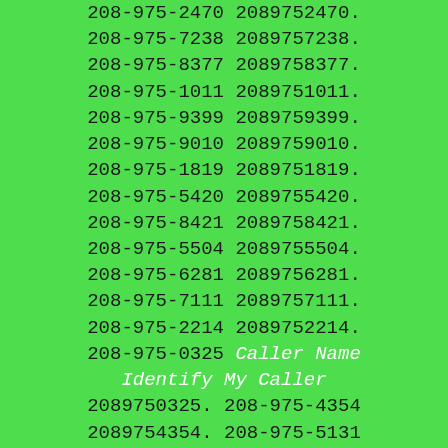208-975-2470 2089752470. 208-975-7238 2089757238. 208-975-8377 2089758377. 208-975-1011 2089751011. 208-975-9399 2089759399. 208-975-9010 2089759010. 208-975-1819 2089751819. 208-975-5420 2089755420. 208-975-8421 2089758421. 208-975-5504 2089755504. 208-975-6281 2089756281. 208-975-7111 2089757111. 208-975-2214 2089752214. 208-975-0325 Caller Name Identify My Caller 2089750325. 208-975-4354 2089754354. 208-975-5131 2089755131. 208-975-7530 2089757530. 208-975-0551 Caller Name Identify My Caller 2089750551. 208-975-7648 2089757648. 208-975-3726 2089753726. 208-975-1471 2089751471. 208-975-9472 2089759472. 208-975-6619 2089756619. 208-975-0640 Caller Name Identify My Caller 2089750640. 208-975-9729 2089759729. 208-975-4097 2089754097. 208-975-3959 2089753959. 208-975-4848